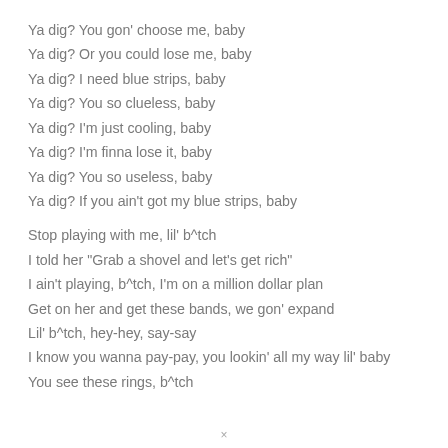Ya dig? You gon' choose me, baby
Ya dig? Or you could lose me, baby
Ya dig? I need blue strips, baby
Ya dig? You so clueless, baby
Ya dig? I'm just cooling, baby
Ya dig? I'm finna lose it, baby
Ya dig? You so useless, baby
Ya dig? If you ain't got my blue strips, baby
Stop playing with me, lil' b^tch
I told her "Grab a shovel and let's get rich"
I ain't playing, b^tch, I'm on a million dollar plan
Get on her and get these bands, we gon' expand
Lil' b^tch, hey-hey, say-say
I know you wanna pay-pay, you lookin' all my way lil' baby
You see these rings, b^tch
×